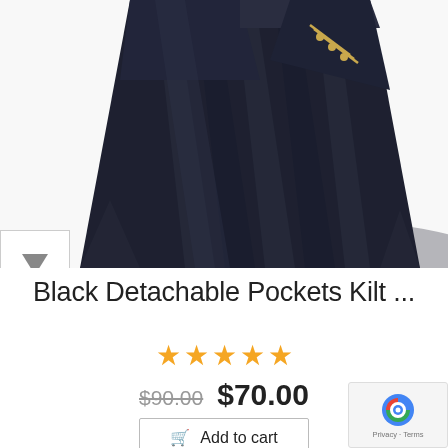[Figure (photo): A black detachable pockets kilt garment displayed on a white background. The kilt shows dark navy/black pleated fabric with a decorative gold chain detail on the waistband area.]
Black Detachable Pockets Kilt ...
[Figure (other): Five yellow star rating icons]
$90.00  $70.00
Add to cart